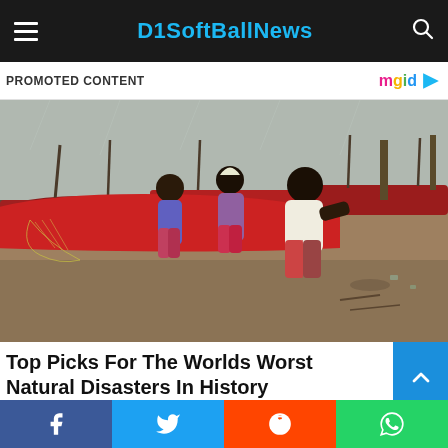D1SoftBallNews
PROMOTED CONTENT
[Figure (photo): People pushing a boat on a sandy shore in stormy weather, with fishing boats visible in the background]
Top Picks For The Worlds Worst Natural Disasters In History